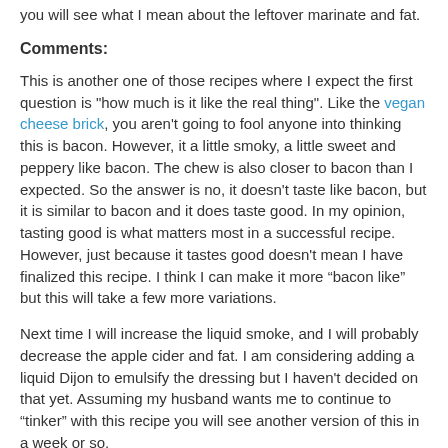you will see what I mean about the leftover marinate and fat.
Comments:
This is another one of those recipes where I expect the first question is "how much is it like the real thing". Like the vegan cheese brick, you aren't going to fool anyone into thinking this is bacon. However, it a little smoky, a little sweet and peppery like bacon. The chew is also closer to bacon than I expected. So the answer is no, it doesn't taste like bacon, but it is similar to bacon and it does taste good. In my opinion, tasting good is what matters most in a successful recipe. However, just because it tastes good doesn't mean I have finalized this recipe. I think I can make it more “bacon like” but this will take a few more variations.
Next time I will increase the liquid smoke, and I will probably decrease the apple cider and fat. I am considering adding a liquid Dijon to emulsify the dressing but I haven't decided on that yet. Assuming my husband wants me to continue to “tinker” with this recipe you will see another version of this in a week or so.